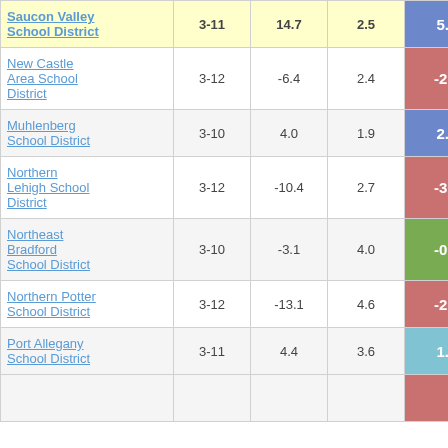| School District | Grades | Col3 | Col4 | Score | Extra |
| --- | --- | --- | --- | --- | --- |
| Saucon Valley School District | 3-11 | 14.7 | 2.5 | 5.98 |  |
| New Castle Area School District | 3-12 | -6.4 | 2.4 | -2.66 |  |
| Muhlenberg School District | 3-10 | 4.0 | 1.9 | 2.10 |  |
| Northern Lehigh School District | 3-12 | -10.4 | 2.7 | -3.82 |  |
| Northeast Bradford School District | 3-10 | -3.1 | 4.0 | -0.78 |  |
| Northern Potter School District | 3-12 | -13.1 | 4.6 | -2.84 |  |
| Port Allegany School District | 3-11 | 4.4 | 3.6 | 1.21 |  |